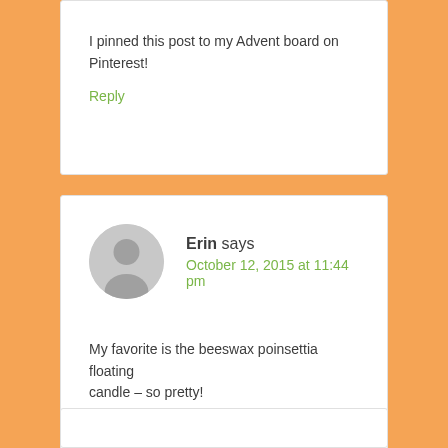I pinned this post to my Advent board on Pinterest!
Reply
Erin says
October 12, 2015 at 11:44 pm
My favorite is the beeswax poinsettia floating candle – so pretty!
Reply